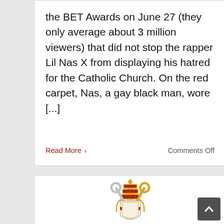the BET Awards on June 27 (they only average about 3 million viewers) that did not stop the rapper Lil Nas X from displaying his hatred for the Catholic Church. On the red carpet, Nas, a gay black man, wore [...]
Read More ›
Comments Off
[Figure (illustration): Papal coat of arms / Holy See emblem: gold and silver crossed keys with tiara crowns decorated with red and green gems, on a white and gold shield, partially obscured by a dark scroll-to-top button in the bottom right corner.]